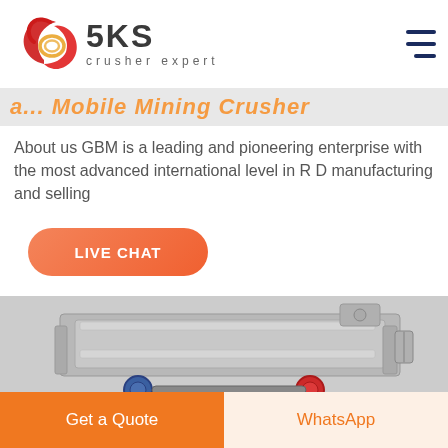[Figure (logo): SKS Crusher Expert logo with red stylized interlinked rings icon and bold SKS text with 'crusher expert' subtitle]
a... Mobile Mining Crusher
About us GBM is a leading and pioneering enterprise with the most advanced international level in R D manufacturing and selling
[Figure (other): Live Chat button in orange/salmon gradient rounded rectangle]
[Figure (photo): Industrial vibrating screen / mining crusher machine, silver metallic, with red and blue components visible at bottom]
Get a Quote
WhatsApp